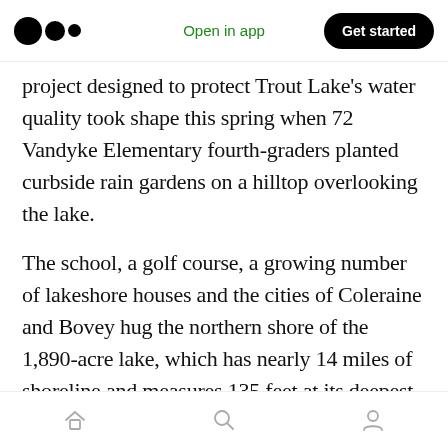Open in app | Get started
project designed to protect Trout Lake’s water quality took shape this spring when 72 Vandyke Elementary fourth-graders planted curbside rain gardens on a hilltop overlooking the lake.
The school, a golf course, a growing number of lakeshore houses and the cities of Coleraine and Bovey hug the northern shore of the 1,890-acre lake, which has nearly 14 miles of shoreline and measures 135 feet at its deepest point.
A $351,000 Clean Water Fund grant from the Minnesota Board of Water and Soil R…
Home | Search | Profile